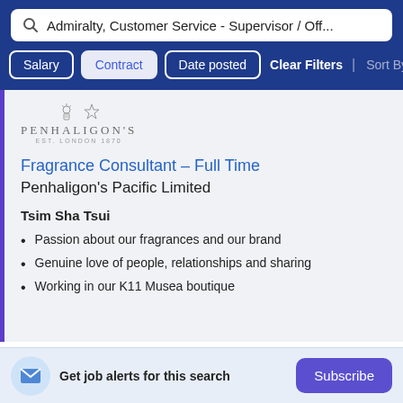Admiralty, Customer Service - Supervisor / Off...
Salary | Contract | Date posted | Clear Filters | Sort By Relev
[Figure (logo): Penhaligon's brand logo with two royal warrant crests above the text PENHALIGON'S]
Fragrance Consultant – Full Time
Penhaligon's Pacific Limited
Tsim Sha Tsui
Passion about our fragrances and our brand
Genuine love of people, relationships and sharing
Working in our K11 Musea boutique
Get job alerts for this search
Subscribe